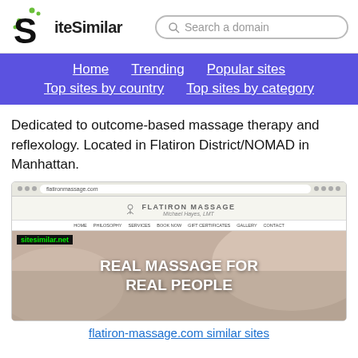SiteSimilar
Dedicated to outcome-based massage therapy and reflexology. Located in Flatiron District/NOMAD in Manhattan.
[Figure (screenshot): Screenshot of flatiron-massage.com website showing logo 'FLATIRON MASSAGE Michael Hayes, LMT', navigation bar, and hero image with text 'REAL MASSAGE FOR REAL PEOPLE' with sitesimilar.net watermark]
flatiron-massage.com similar sites